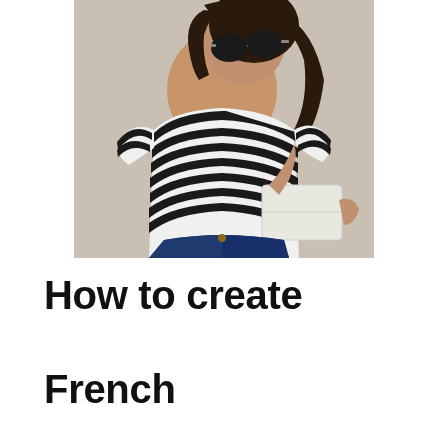[Figure (photo): A woman wearing black and white horizontal striped short-sleeve t-shirt and dark sunglasses, holding a white clutch bag, with dark jeans visible at the bottom. She is looking downward. Light gray background.]
How to create French